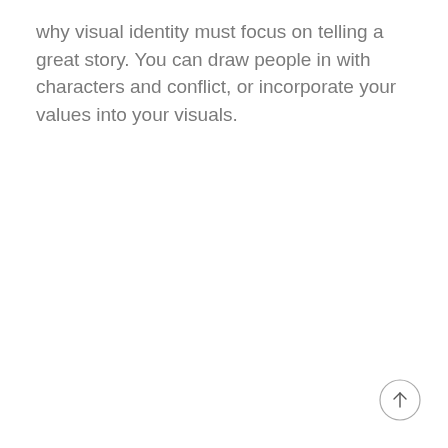why visual identity must focus on telling a great story. You can draw people in with characters and conflict, or incorporate your values into your visuals.
[Figure (illustration): A circular button with an upward-pointing arrow icon, positioned in the bottom-right corner of the page.]